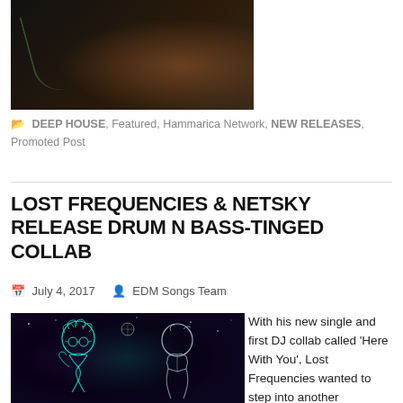[Figure (photo): Dark artistic photo showing a person or figure against a dark background with some warm tones]
DEEP HOUSE, Featured, Hammarica Network, NEW RELEASES, Promoted Post
LOST FREQUENCIES & NETSKY RELEASE DRUM N BASS-TINGED COLLAB
July 4, 2017   EDM Songs Team
[Figure (illustration): Artistic illustration of two figures (Lost Frequencies and Netsky) drawn in glowing white outlines against a dark purple/teal cosmic background with stars]
With his new single and first DJ collab called 'Here With You', Lost Frequencies wanted to step into another dimension and work with none other than